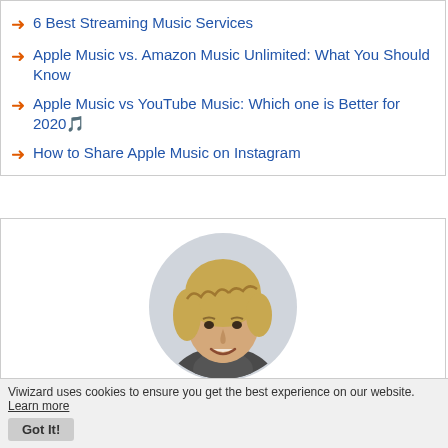6 Best Streaming Music Services
Apple Music vs. Amazon Music Unlimited: What You Should Know
Apple Music vs YouTube Music: Which one is Better for 2020🎵
How to Share Apple Music on Instagram
[Figure (photo): Circular portrait photo of Adam Gorden, a young man with blonde wavy hair, smiling, against a light background.]
Adam Gorden is an experienced writer of ViWizard who is obsessed about tech, movie and software.
SHARING IS GREAT!
Tweet
Viwizard uses cookies to ensure you get the best experience on our website. Learn more Got It!